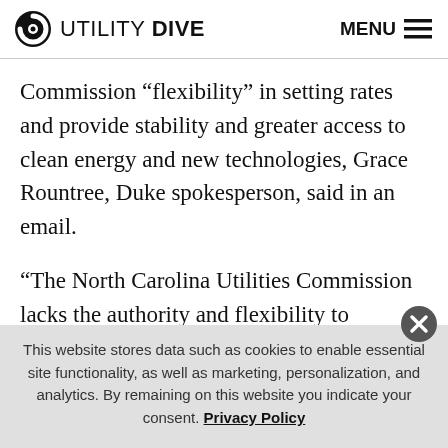UTILITY DIVE   MENU
Commission “flexibility” in setting rates and provide stability and greater access to clean energy and new technologies, Grace Rountree, Duke spokesperson, said in an email.
“The North Carolina Utilities Commission lacks the authority and flexibility to approve alternate ratemaking methods that enable utilities to enhance the customer experience, make the energy system smart and more
This website stores data such as cookies to enable essential site functionality, as well as marketing, personalization, and analytics. By remaining on this website you indicate your consent. Privacy Policy